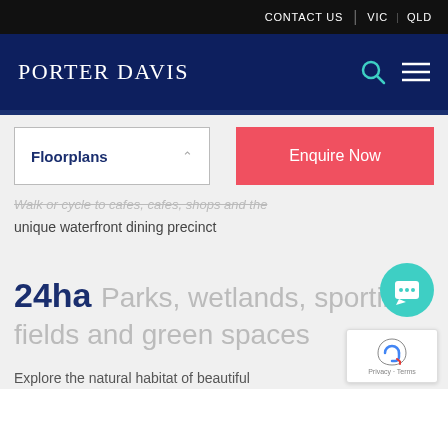CONTACT US   VIC   QLD
PORTER DAVIS
Floorplans
Enquire Now
unique waterfront dining precinct
24ha Parks, wetlands, sporting fields and green spaces
Explore the natural habitat of beautiful